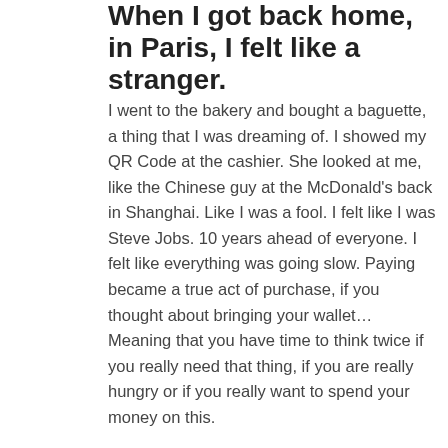When I got back home, in Paris, I felt like a stranger.
I went to the bakery and bought a baguette, a thing that I was dreaming of. I showed my QR Code at the cashier. She looked at me, like the Chinese guy at the McDonald's back in Shanghai. Like I was a fool. I felt like I was Steve Jobs. 10 years ahead of everyone. I felt like everything was going slow. Paying became a true act of purchase, if you thought about bringing your wallet… Meaning that you have time to think twice if you really need that thing, if you are really hungry or if you really want to spend your money on this.
More than the digital aspect of things, once I got back, I realized that I did learn so many things that I could never have thought of. On the professional aspect of things, digitalization soaked me in. I was absorbed by screens, thought about everything that can be improved in Europe. And then I realized that